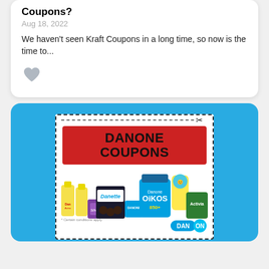Coupons?
Aug 18, 2022
We haven't seen Kraft Coupons in a long time, so now is the time to...
[Figure (illustration): A heart (like) icon in gray]
[Figure (photo): Danone Coupons promotional image showing various Danone products including Danette, Oikos, Activia, DanAcino, and Silhouette, with a red banner reading DANONE COUPONS, dashed cut border with scissors icon, and Danone logo at bottom right]